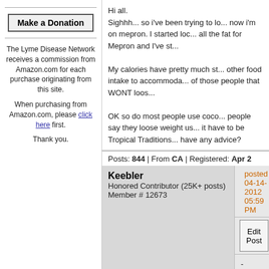[Figure (other): Make a Donation button - a bordered button with bold text]
The Lyme Disease Network receives a commission from Amazon.com for each purchase originating from this site.
When purchasing from Amazon.com, please click here first.
Thank you.
Hi all.
Sighhh... so i've been trying to lo... now i'm on mepron. I started loc... all the fat for Mepron and I've st...
My calories have pretty much st... other food intake to accommoda... of those people that WONT loos...
OK so do most people use coco... people say they loose weight us... it have to be Tropical Traditions... have any advice?
Posts: 844 | From CA | Registered: Apr 2
Keebler
Honored Contributor (25K+ posts)
Member # 12673
posted 04-14-2012 05:59 PM
Edit Post  Reply With Quote
-
My advice: do not focus on loos... food intake from a variety of hea...

Do be mindful of the balance an... much. Move as often and as bes... gravitating to muscle toning.

PILATES may be excellent for y...